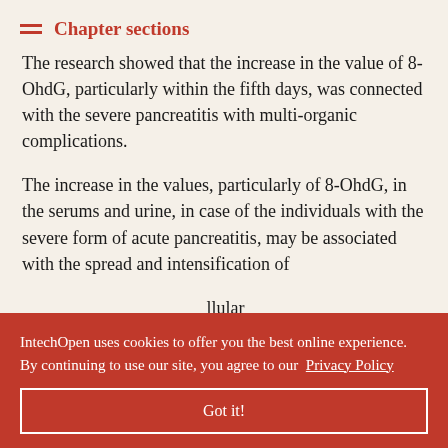Chapter sections
The research showed that the increase in the value of 8-OhdG, particularly within the fifth days, was connected with the severe pancreatitis with multi-organic complications.
The increase in the values, particularly of 8-OhdG, in the serums and urine, in case of the individuals with the severe form of acute pancreatitis, may be associated with the spread and intensification of [...]llular
[...] search of [...]- omphasize the
IntechOpen uses cookies to offer you the best online experience. By continuing to use our site, you agree to our Privacy Policy
Got it!